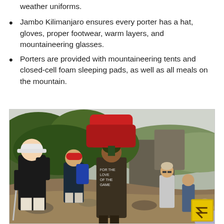weather uniforms.
Jambo Kilimanjaro ensures every porter has a hat, gloves, proper footwear, warm layers, and mountaineering glasses.
Porters are provided with mountaineering tents and closed-cell foam sleeping pads, as well as all meals on the mountain.
[Figure (photo): Group of hikers and a porter carrying a large red bag on their head walking along a rocky mountain trail on Kilimanjaro, with lush green vegetation and misty hills in the background. A yellow back-to-top icon is visible in the bottom right corner of the image.]